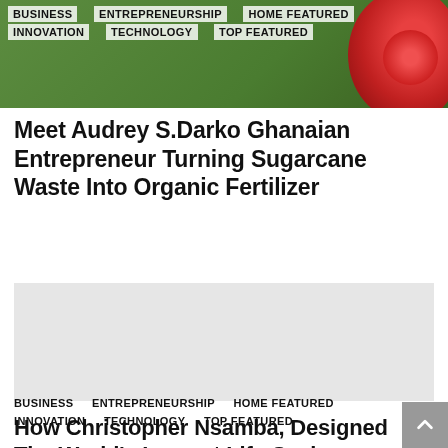[Figure (photo): Green outdoor background with red flower/plant visible at top right corner]
BUSINESS   ENTREPRENEURSHIP   HOME FEATURED   INNOVATION   TECHNOLOGY   TOP FEATURED
Meet Audrey S.Darko Ghanaian Entrepreneur Turning Sugarcane Waste Into Organic Fertilizer
[Figure (photo): Light gray placeholder image for second article]
BUSINESS   ENTREPRENEURSHIP   HOME FEATURED   INNOVATION   TECHNOLOGY   TOP FEATURED
How Christopher Nsamba, Designed The World's Largest Life-Saving Incubator Before